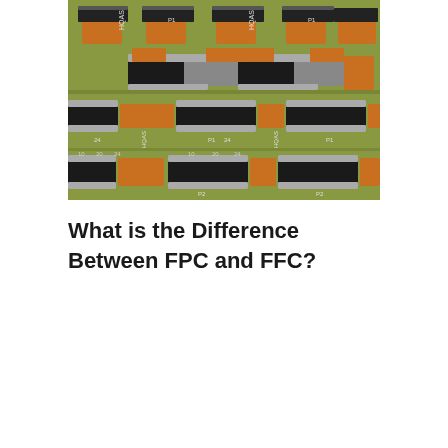[Figure (photo): Close-up photograph of a green PCB (printed circuit board) with multiple FPC/FFC ZIF connectors in black and silver, mounted on orange copper pads. Labels visible include HQAS, P1, P2, and numbered pin indicators (10, 20, 24).]
What is the Difference Between FPC and FFC?